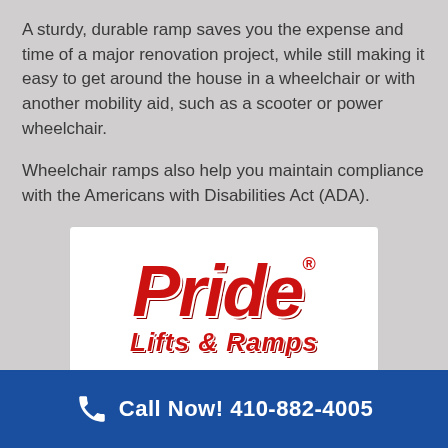A sturdy, durable ramp saves you the expense and time of a major renovation project, while still making it easy to get around the house in a wheelchair or with another mobility aid, such as a scooter or power wheelchair.
Wheelchair ramps also help you maintain compliance with the Americans with Disabilities Act (ADA).
[Figure (logo): Pride Lifts & Ramps logo with red italic bold text on white background]
Call Now! 410-882-4005